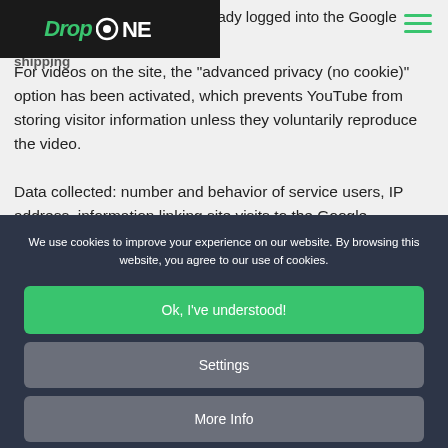identification o... nless it is already logged into the Google pro... shipping
DropONE shipping (logo/nav)
For videos on the site, the "advanced privacy (no cookie)" option has been activated, which prevents YouTube from storing visitor information unless they voluntarily reproduce the video.
Data collected: number and behavior of service users, IP address, information linking site visits to the Google
We use cookies to improve your experience on our website. By browsing this website, you agree to our use of cookies.
Ok, I've understood!
Settings
More Info